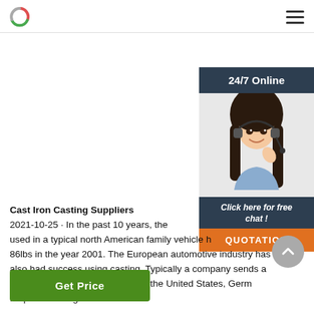Cast Iron Casting Suppliers logo and navigation
[Figure (illustration): Customer service woman with headset - 24/7 Online chat widget on the right side, with 'Click here for free chat!' and QUOTATION button]
Cast Iron Casting Suppliers
2021-10-25u2002·u2002In the past 10 years, the [amount] used in a typical north American family vehicle [has gone from] 86lbs in the year 2001. The European automotive industry has also had success using casting. Typically a company sends a CAD solid model of the design to the United States, Germ[any] for pattern design.
Get Price